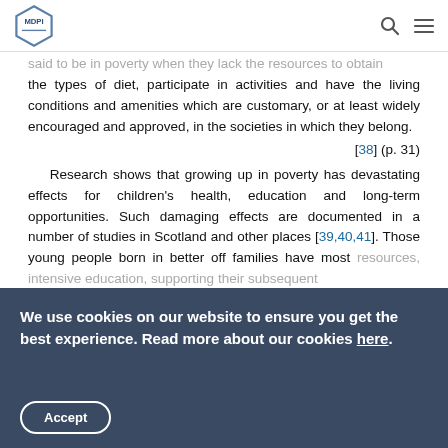MDPI logo with search and menu icons
said to be in poverty when they lack the resources to obtain the types of diet, participate in activities and have the living conditions and amenities which are customary, or at least widely encouraged and approved, in the societies in which they belong.
[38] (p. 31)
Research shows that growing up in poverty has devastating effects for children's health, education and long-term opportunities. Such damaging effects are documented in a number of studies in Scotland and other places [39,40,41]. Those young people born in better off families have most resources, intensive education, supporting their subsequent
We use cookies on our website to ensure you get the best experience. Read more about our cookies here.
Accept